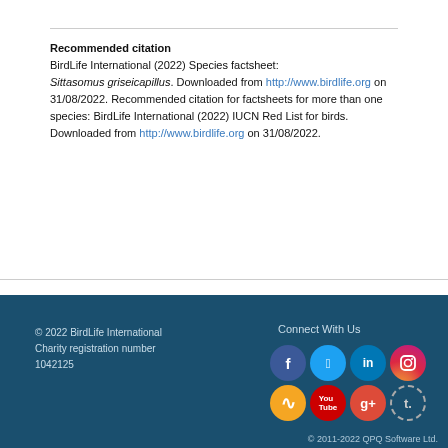Recommended citation
BirdLife International (2022) Species factsheet: Sittasomus griseicapillus. Downloaded from http://www.birdlife.org on 31/08/2022. Recommended citation for factsheets for more than one species: BirdLife International (2022) IUCN Red List for birds. Downloaded from http://www.birdlife.org on 31/08/2022.
© 2022 BirdLife International Charity registration number 1042125
[Figure (infographic): Social media icons: Facebook, Twitter, LinkedIn, Instagram, RSS, YouTube, Google+, Tumblr arranged in two rows of four circles on a dark blue background.]
© 2011-2022 QPQ Software Ltd.